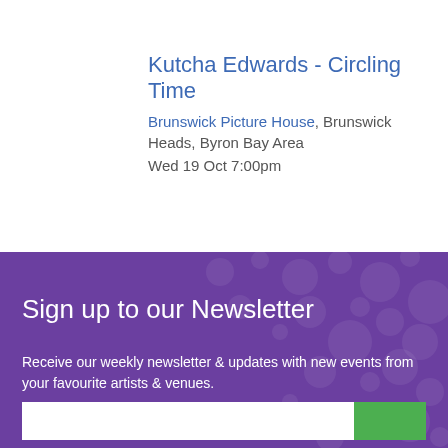Kutcha Edwards - Circling Time
Brunswick Picture House, Brunswick Heads, Byron Bay Area
Wed 19 Oct 7:00pm
Sign up to our Newsletter
Receive our weekly newsletter & updates with new events from your favourite artists & venues.